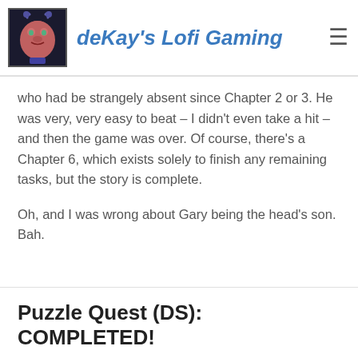deKay's Lofi Gaming
who had be strangely absent since Chapter 2 or 3. He was very, very easy to beat – I didn't even take a hit – and then the game was over. Of course, there's a Chapter 6, which exists solely to finish any remaining tasks, but the story is complete.
Oh, and I was wrong about Gary being the head's son. Bah.
Puzzle Quest (DS): COMPLETED!
COMPLETED / DS / PUZZLE QUEST   JULY 29TH, 2007
LEAVE A COMMENT